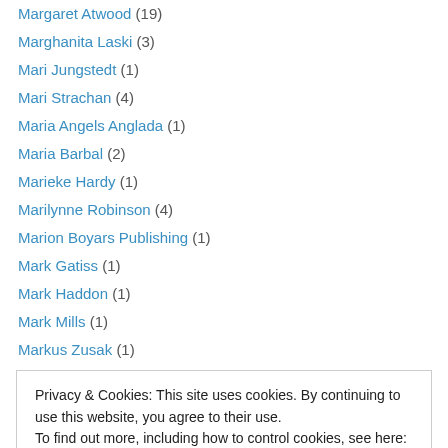Margaret Atwood (19)
Marghanita Laski (3)
Mari Jungstedt (1)
Mari Strachan (4)
Maria Angels Anglada (1)
Maria Barbal (2)
Marieke Hardy (1)
Marilynne Robinson (4)
Marion Boyars Publishing (1)
Mark Gatiss (1)
Mark Haddon (1)
Mark Mills (1)
Markus Zusak (1)
Privacy & Cookies: This site uses cookies. By continuing to use this website, you agree to their use. To find out more, including how to control cookies, see here: Cookie Policy
Mary Roach (3)